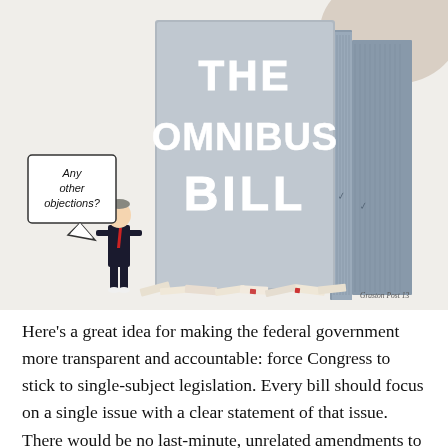[Figure (illustration): Political cartoon showing a tiny suited man standing next to an enormous grey slab labeled 'THE OMNIBUS BILL'. The man has a speech bubble saying 'Any other objections?' The bottom of the slab is resting on dozens of smaller documents/bills. A tall stack of pages is visible on the right side of the slab. Artist signature reads 'Graston Post 13' or similar.]
Here's a great idea for making the federal government more transparent and accountable: force Congress to stick to single-subject legislation. Every bill should focus on a single issue with a clear statement of that issue. There would be no last-minute, unrelated amendments to legislation, and no omnibus bills as thick as several phone